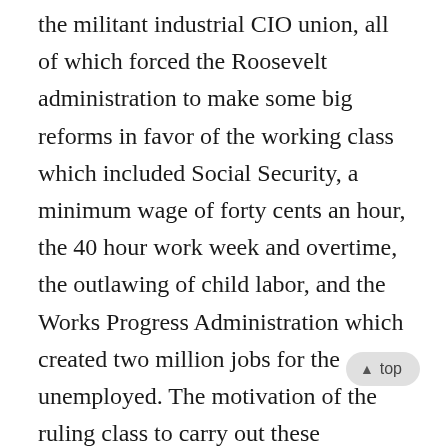the militant industrial CIO union, all of which forced the Roosevelt administration to make some big reforms in favor of the working class which included Social Security, a minimum wage of forty cents an hour, the 40 hour work week and overtime, the outlawing of child labor, and the Works Progress Administration which created two million jobs for the unemployed. The motivation of the ruling class to carry out these programs was to preserve the capitalist system in the face of mass working class and socialist resistance. Before there was militant communist leadership in the unions the working class was mostly just getting its ass kicked, as we are once again today for the same